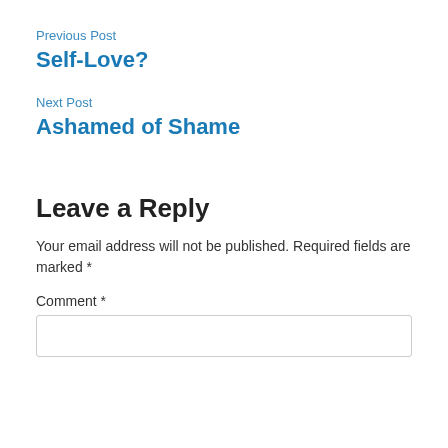Previous Post
Self-Love?
Next Post
Ashamed of Shame
Leave a Reply
Your email address will not be published. Required fields are marked *
Comment *